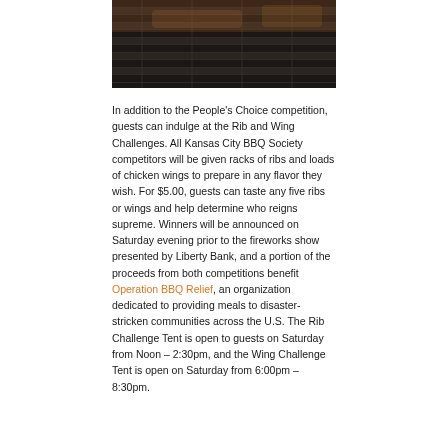[Figure (photo): Close-up photo of a BBQ grill with metal grates and food being grilled, showing dark grill bars with warm tones.]
In addition to the People's Choice competition, guests can indulge at the Rib and Wing Challenges. All Kansas City BBQ Society competitors will be given racks of ribs and loads of chicken wings to prepare in any flavor they wish. For $5.00, guests can taste any five ribs or wings and help determine who reigns supreme. Winners will be announced on Saturday evening prior to the fireworks show presented by Liberty Bank, and a portion of the proceeds from both competitions benefit Operation BBQ Relief, an organization dedicated to providing meals to disaster-stricken communities across the U.S. The Rib Challenge Tent is open to guests on Saturday from Noon – 2:30pm, and the Wing Challenge Tent is open on Saturday from 6:00pm – 8:30pm.